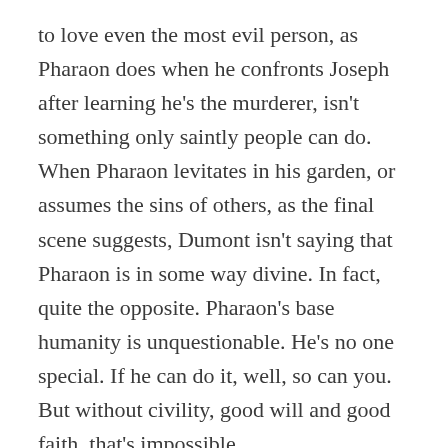to love even the most evil person, as Pharaon does when he confronts Joseph after learning he's the murderer, isn't something only saintly people can do. When Pharaon levitates in his garden, or assumes the sins of others, as the final scene suggests, Dumont isn't saying that Pharaon is in some way divine. In fact, quite the opposite. Pharaon's base humanity is unquestionable. He's no one special. If he can do it, well, so can you. But without civility, good will and good faith, that's impossible.
I know it's not yours, as you stated, but to think that view, the one I just described, is a reductive view of humanity, then I can only deduce the person who thinks that considers the divine an